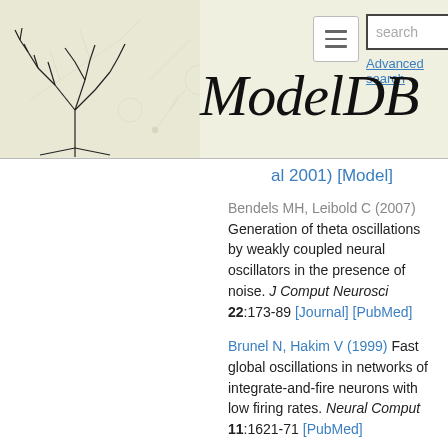[Figure (logo): ModelDB website header with neural tree illustration on left, hamburger menu button, search bar, Advanced search link, and ModelDB italic title text in center]
al 2001) [Model]
Bendels MH, Leibold C (2007) Generation of theta oscillations by weakly coupled neural oscillators in the presence of noise. J Comput Neurosci 22:173-89 [Journal] [PubMed]
Brunel N, Hakim V (1999) Fast global oscillations in networks of integrate-and-fire neurons with low firing rates. Neural Comput 11:1621-71 [PubMed]
Fast global oscillations in networks of I&F neurons with low firing rates (Brunel and Hakim 1999) [Model]